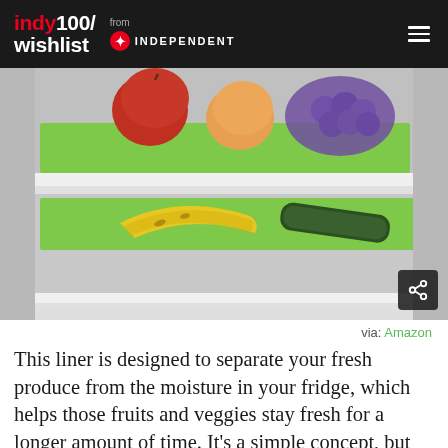indy100/wishlist from INDEPENDENT
[Figure (photo): Fridge interior showing green liner mats on refrigerator shelves with fruits (apple, peach) and vegetables (banana, cucumber) placed on the green mats]
via: Amazon
This liner is designed to separate your fresh produce from the moisture in your fridge, which helps those fruits and veggies stay fresh for a longer amount of time. It's a simple concept, but